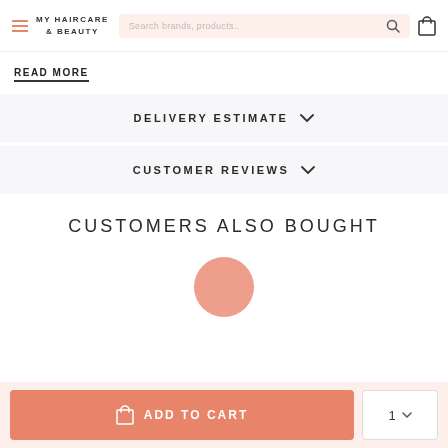MY HAIRCARE & BEAUTY
READ MORE
DELIVERY ESTIMATE
CUSTOMER REVIEWS
CUSTOMERS ALSO BOUGHT
[Figure (illustration): Partial circle/product image preview in peach/salmon color]
ADD TO CART